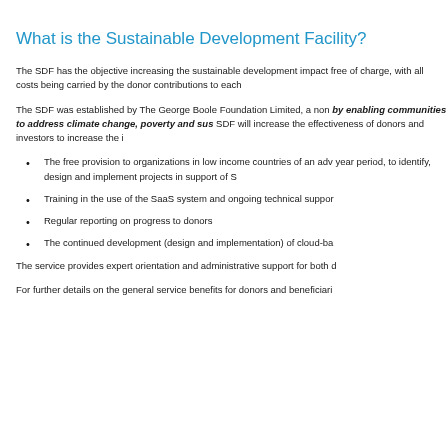What is the Sustainable Development Facility?
The SDF has the objective increasing the sustainable development impact free of charge, with all costs being carried by the donor contributions to each
The SDF was established by The George Boole Foundation Limited, a non by enabling communities to address climate change, poverty and sus SDF will increase the effectiveness of donors and investors to increase the i
The free provision to organizations in low income countries of an adv year period, to identify, design and implement projects in support of S
Training in the use of the SaaS system and ongoing technical suppor
Regular reporting on progress to donors
The continued development (design and implementation) of cloud-ba
The service provides expert orientation and administrative support for both d
For further details on the general service benefits for donors and beneficiari